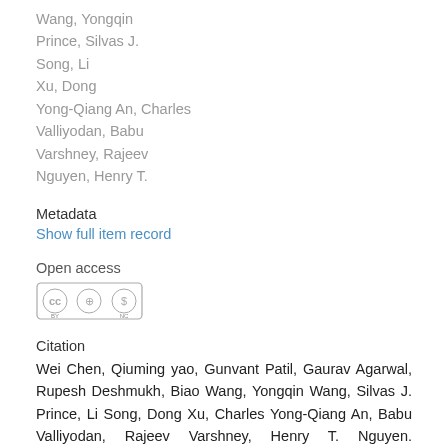Wang, Yongqin
Prince, Silvas J.
Song, Li
Xu, Dong
Yong-Qiang An, Charles
Valliyodan, Babu
Varshney, Rajeev
Nguyen, Henry T.
Metadata
Show full item record
Open access
[Figure (logo): Creative Commons Attribution-NonCommercial (CC BY-NC) license badge]
Citation
Wei Chen, Qiuming yao, Gunvant Patil, Gaurav Agarwal, Rupesh Deshmukh, Biao Wang, Yongqin Wang, Silvas J. Prince, Li Song, Dong Xu, Charles Yong-Qiang An, Babu Valliyodan, Rajeev Varshney, Henry T. Nguyen. (19/7/2016). Identification and Comparative Analysis of Differential Gene Expression in Soybean Leaf Tissue under Drought and Flooding Stress Revealed by RNA